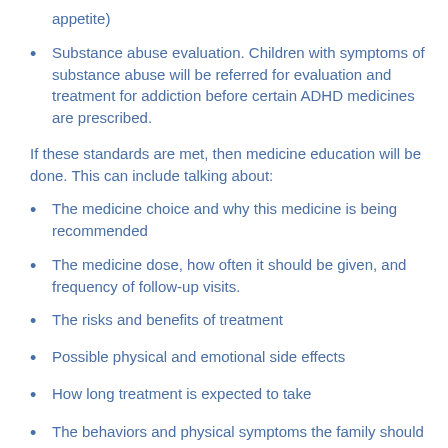appetite)
Substance abuse evaluation. Children with symptoms of substance abuse will be referred for evaluation and treatment for addiction before certain ADHD medicines are prescribed.
If these standards are met, then medicine education will be done. This can include talking about:
The medicine choice and why this medicine is being recommended
The medicine dose, how often it should be given, and frequency of follow-up visits.
The risks and benefits of treatment
Possible physical and emotional side effects
How long treatment is expected to take
The behaviors and physical symptoms the family should